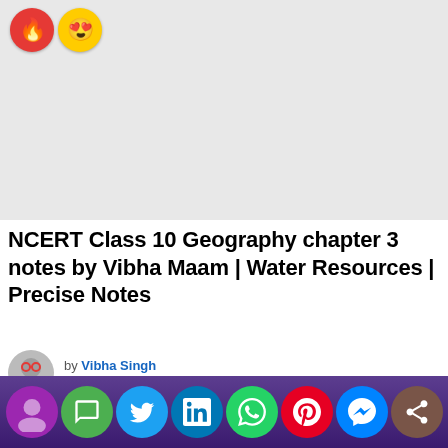[Figure (photo): Hero image placeholder area (light gray background) with fire emoji and heart-eyes emoji reaction icons in the top-left corner]
NCERT Class 10 Geography chapter 3 notes by Vibha Maam | Water Resources | Precise Notes
by Vibha Singh
27 days ago
[Figure (infographic): Bottom social sharing bar with icons: chat/message (green), Twitter (blue), LinkedIn (dark blue), WhatsApp (green), Pinterest (red), Messenger (blue), Share (brown)]